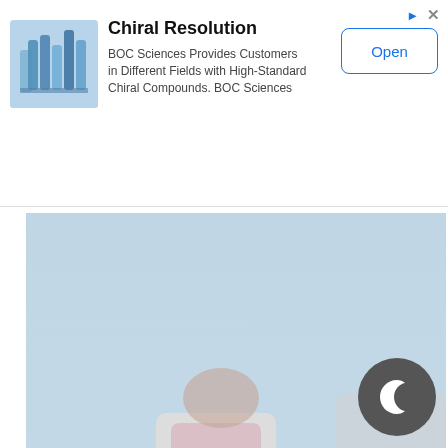[Figure (screenshot): Advertisement banner for BOC Sciences Chiral Resolution. Shows a small image of lab vials/bottles on the left, title 'Chiral Resolution', description text, and an 'Open' button on the right.]
[Figure (photo): Photo of scientists in white lab coats sitting at a lab bench with various colorful chemicals, beakers, and lab equipment. Taken from Inside Higher Ed / InsideHigherEd.com]
This image was taken from Inside Higher Ed | InsideHigherEd.com
If you have seen the Avengers: End Game, then your ears probably rang when you read the word “Quantum.” In reality, Quantum Science is really topping the Science world because of new technologies and advancements that come w